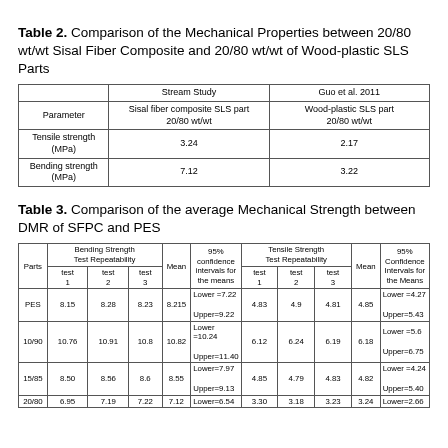Table 2. Comparison of the Mechanical Properties between 20/80 wt/wt Sisal Fiber Composite and 20/80 wt/wt of Wood-plastic SLS Parts
|  | Stream Study
Sisal fiber composite SLS part 20/80 wt/wt | Guo et al. 2011
Wood-plastic SLS part 20/80 wt/wt |
| --- | --- | --- |
| Parameter | Sisal fiber composite SLS part
20/80 wt/wt | Wood-plastic SLS part
20/80 wt/wt |
| Tensile strength
(MPa) | 3.24 | 2.17 |
| Bending strength
(MPa) | 7.12 | 3.22 |
Table 3. Comparison of the average Mechanical Strength between DMR of SFPC and PES
| Parts | Bending Strength Test Repeatability test 1 | Bending Strength Test Repeatability test 2 | Bending Strength Test Repeatability test 3 | Mean | 95% confidence intervals for the means | Tensile Strength Test Repeatability test 1 | Tensile Strength Test Repeatability test 2 | Tensile Strength Test Repeatability test 3 | Mean | 95% Confidence Intervals for the Means |
| --- | --- | --- | --- | --- | --- | --- | --- | --- | --- | --- |
| PES | 8.15 | 8.28 | 8.23 | 8.215 | Lower=7.22
Upper=9.22 | 4.83 | 4.9 | 4.81 | 4.85 | Lower=4.27
Upper=5.43 |
| 10/90 | 10.76 | 10.91 | 10.8 | 10.82 | Lower=10.24
Upper=11.40 | 6.12 | 6.24 | 6.19 | 6.18 | Lower=5.6
Upper=6.75 |
| 15/85 | 8.50 | 8.56 | 8.6 | 8.55 | Lower=7.97
Upper=9.13 | 4.85 | 4.79 | 4.83 | 4.82 | Lower=4.24
Upper=5.40 |
| 20/80 | 6.95 | 7.19 | 7.22 | 7.12 | Lower=6.54 | 3.30 | 3.18 | 3.23 | 3.24 | Lower=2.66 |